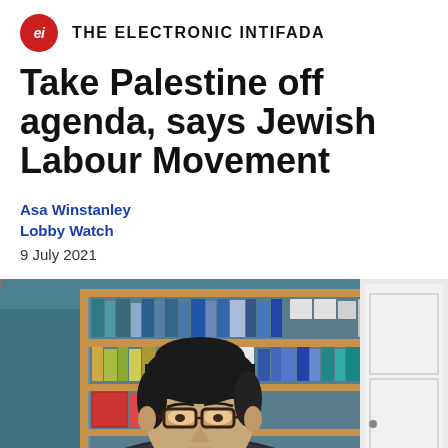THE ELECTRONIC INTIFADA
Take Palestine off agenda, says Jewish Labour Movement
Asa Winstanley
Lobby Watch
9 July 2021
[Figure (photo): Video screenshot of a person with dark hair and glasses, sitting in front of a bookshelf with books and folders, and a white door to the right. The room has teal/dark walls.]